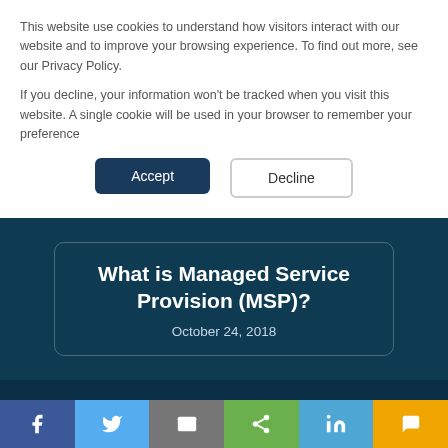This website use cookies to understand how visitors interact with our website and to improve your browsing experience. To find out more, see our Privacy Policy.
If you decline, your information won't be tracked when you visit this website. A single cookie will be used in your browser to remember your preference
Accept
Decline
What is Managed Service Provision (MSP)?
October 24, 2018